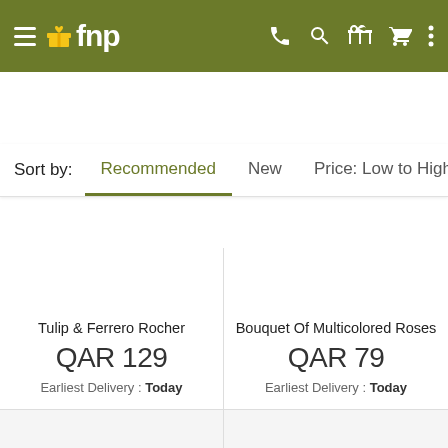fnp — navigation header with hamburger menu, phone, search, gift, cart, and more icons
Sort by: Recommended | New | Price: Low to High | Pr…
Tulip & Ferrero Rocher
QAR 129
Earliest Delivery : Today
Bouquet Of Multicolored Roses
QAR 79
Earliest Delivery : Today
[Figure (other): Product placeholder with gift icon (bottom-left cell)]
[Figure (other): Product placeholder with gift icon (bottom-right cell)]